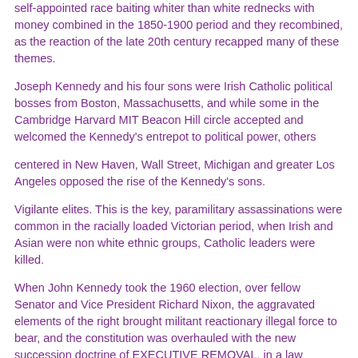self-appointed race baiting whiter than white rednecks with money combined in the 1850-1900 period and they recombined, as the reaction of the late 20th century recapped many of these themes.
Joseph Kennedy and his four sons were Irish Catholic political bosses from Boston, Massachusetts, and while some in the Cambridge Harvard MIT Beacon Hill circle accepted and welcomed the Kennedy's entrepot to political power, others
centered in New Haven, Wall Street, Michigan and greater Los Angeles opposed the rise of the Kennedy's sons.
Vigilante elites. This is the key, paramilitary assassinations were common in the racially loaded Victorian period, when Irish and Asian were non white ethnic groups, Catholic leaders were killed.
When John Kennedy took the 1960 election, over fellow Senator and Vice President Richard Nixon, the aggravated elements of the right brought militant reactionary illegal force to bear, and the constitution was overhauled with the new succession doctrine of EXECUTIVE REMOVAL, in a law originally composed by Senator Estes Kefauver, who died in 1963 of a heart attack and ratified by the States in 1967, in the year before Lyndon Baines Johnson